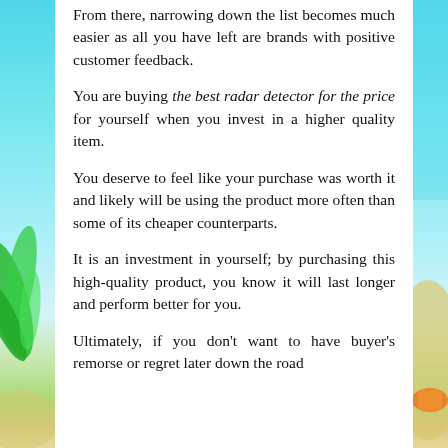From there, narrowing down the list becomes much easier as all you have left are brands with positive customer feedback.
You are buying the best radar detector for the price for yourself when you invest in a higher quality item.
You deserve to feel like your purchase was worth it and likely will be using the product more often than some of its cheaper counterparts.
It is an investment in yourself; by purchasing this high-quality product, you know it will last longer and perform better for you.
Ultimately, if you don't want to have buyer's remorse or regret later down the road